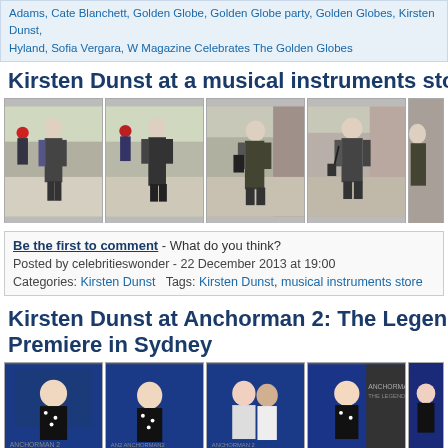Adams, Cate Blanchett, Golden Globe, Golden Globe party, Golden Globes, Kirsten Dunst, Hyland, Sofia Vergara, W Magazine Celebrates The Golden Globes
Kirsten Dunst at a musical instruments sto...
[Figure (photo): Four paparazzi photos of Kirsten Dunst walking outside near a musical instruments store, wearing a dark cardigan and jeans]
Be the first to comment - What do you think?
Posted by celebritieswonder - 22 December 2013 at 19:00
Categories: Kirsten Dunst   Tags: Kirsten Dunst, musical instruments store
Kirsten Dunst at Anchorman 2: The Legend Continues Premiere in Sydney
[Figure (photo): Four photos of Kirsten Dunst at the Anchorman 2 premiere in Sydney, posing in front of blue Anchorman 2 backdrop]